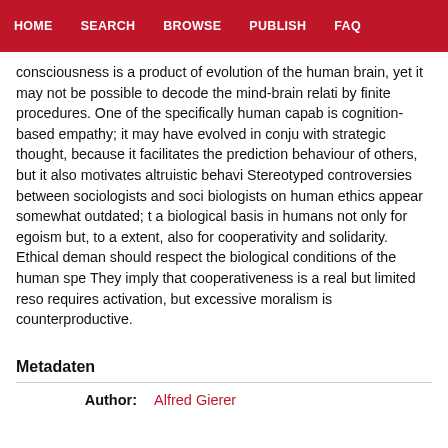HOME  SEARCH  BROWSE  PUBLISH  FAQ
consciousness is a product of evolution of the human brain, yet it may not be possible to decode the mind-brain relation by finite procedures. One of the specifically human capabilities is cognition-based empathy; it may have evolved in conjunction with strategic thought, because it facilitates the prediction of behaviour of others, but it also motivates altruistic behaviour. Stereotyped controversies between sociologists and socio-biologists on human ethics appear somewhat outdated; there is a biological basis in humans not only for egoism but, to a certain extent, also for cooperativity and solidarity. Ethical demands should respect the biological conditions of the human species. They imply that cooperativeness is a real but limited resource, requires activation, but excessive moralism is counterproductive.
Metadaten
| Author: |
| --- |
| Alfred Gierer |